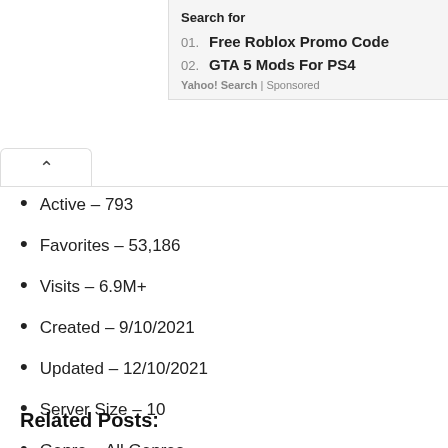Search for
01.  Free Roblox Promo Code
02.  GTA 5 Mods For PS4
Yahoo! Search | Sponsored
Active – 793
Favorites – 53,186
Visits – 6.9M+
Created – 9/10/2021
Updated – 12/10/2021
Server Size – 10
Genre – All Genres
Related Posts: